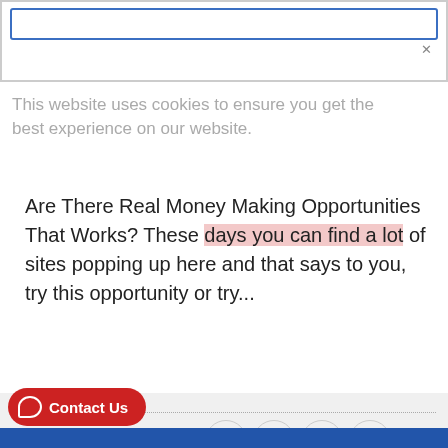[Figure (screenshot): Top bar with blue-bordered input/search box and close X button]
This website uses cookies to ensure you get the best experience on our website.
Decline   Accept
Are There Real Money Making Opportunities That Works? These days you can find a lot of sites popping up here and that says to you, try this opportunity or try...
0 Comments
READ MORE
Contact Us